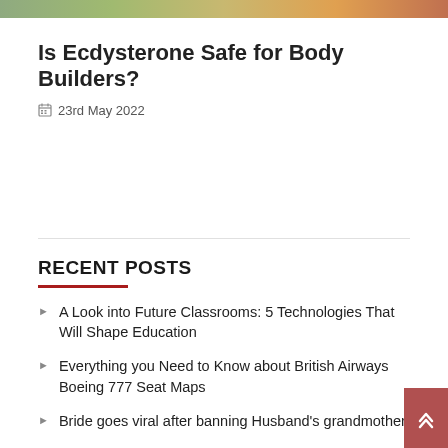[Figure (photo): Top image bar showing partial colorful image]
Is Ecdysterone Safe for Body Builders?
23rd May 2022
RECENT POSTS
A Look into Future Classrooms: 5 Technologies That Will Shape Education
Everything you Need to Know about British Airways Boeing 777 Seat Maps
Bride goes viral after banning Husband's grandmother